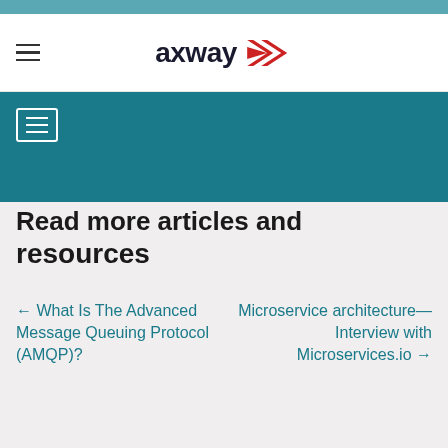[Figure (logo): Axway logo with red chevron/arrow icon and dark text 'axway']
Read more articles and resources
← What Is The Advanced Message Queuing Protocol (AMQP)?
Microservice architecture—Interview with Microservices.io →